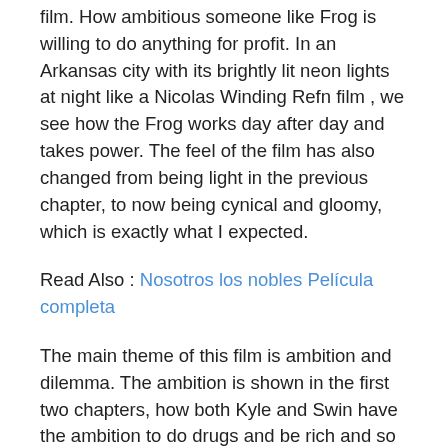film. How ambitious someone like Frog is willing to do anything for profit. In an Arkansas city with its brightly lit neon lights at night like a Nicolas Winding Refn film , we see how the Frog works day after day and takes power. The feel of the film has also changed from being light in the previous chapter, to now being cynical and gloomy, which is exactly what I expected.
Read Also : Nosotros los nobles Película completa
The main theme of this film is ambition and dilemma. The ambition is shown in the first two chapters, how both Kyle and Swin have the ambition to do drugs and be rich and so is Frog who will do whatever it takes to achieve the status of the top drug dealers in his city. And the dilemma is shown in the last 3 chapters, where these three characters encounter problems that make them have to rack their brains.